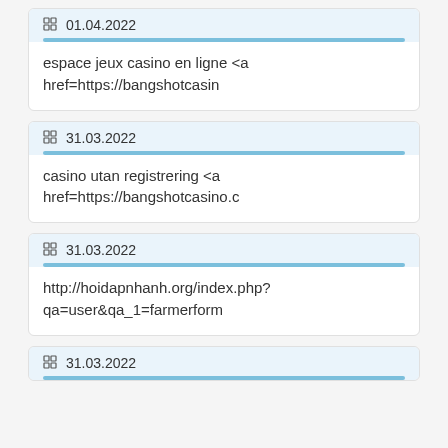01.04.2022
espace jeux casino en ligne <a href=https://bangshotcasin
31.03.2022
casino utan registrering <a href=https://bangshotcasino.c
31.03.2022
http://hoidapnhanh.org/index.php?qa=user&qa_1=farmerform
31.03.2022